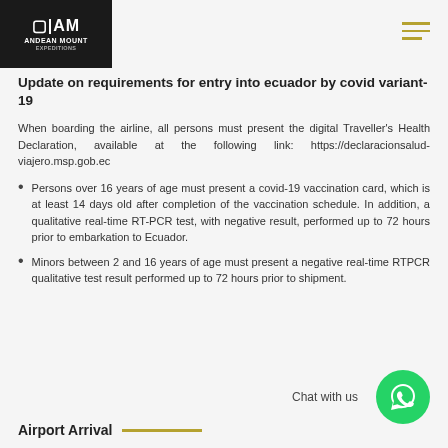Andean Mount - page header with logo and navigation
Update on requirements for entry into ecuador by covid variant-19
When boarding the airline, all persons must present the digital Traveller's Health Declaration, available at the following link: https://declaracionsalud-viajero.msp.gob.ec
Persons over 16 years of age must present a covid-19 vaccination card, which is at least 14 days old after completion of the vaccination schedule. In addition, a qualitative real-time RT-PCR test, with negative result, performed up to 72 hours prior to embarkation to Ecuador.
Minors between 2 and 16 years of age must present a negative real-time RTPCR qualitative test result performed up to 72 hours prior to shipment.
Airport Arrival